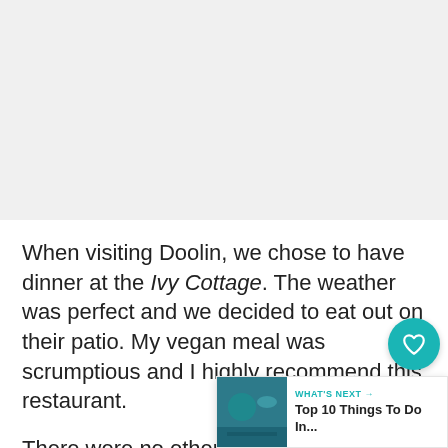[Figure (photo): Large image placeholder area at top of page, light grey background]
When visiting Doolin, we chose to have dinner at the Ivy Cottage. The weather was perfect and we decided to eat out on their patio. My vegan meal was scrumptious and I highly recommend this restaurant.
There were no other complaints either from the vegetarian and omnivore traveling with